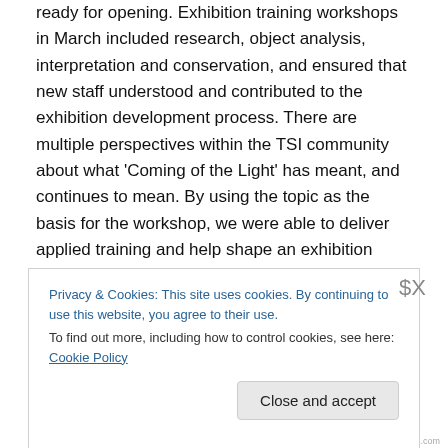ready for opening. Exhibition training workshops in March included research, object analysis, interpretation and conservation, and ensured that new staff understood and contributed to the exhibition development process. There are multiple perspectives within the TSI community about what 'Coming of the Light' has meant, and continues to mean. By using the topic as the basis for the workshop, we were able to deliver applied training and help shape an exhibition plan.
Prior to the MDO workshops, lead curator, Leitha Assan, had already run engagement workshops with the three
Privacy & Cookies: This site uses cookies. By continuing to use this website, you agree to their use.
To find out more, including how to control cookies, see here: Cookie Policy